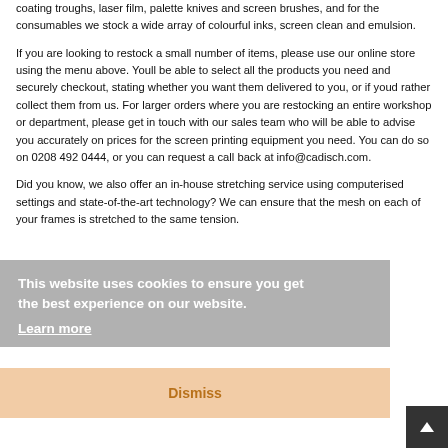coating troughs, laser film, palette knives and screen brushes, and for the consumables we stock a wide array of colourful inks, screen clean and emulsion.
If you are looking to restock a small number of items, please use our online store using the menu above. Youll be able to select all the products you need and securely checkout, stating whether you want them delivered to you, or if youd rather collect them from us. For larger orders where you are restocking an entire workshop or department, please get in touch with our sales team who will be able to advise you accurately on prices for the screen printing equipment you need. You can do so on 0208 492 0444, or you can request a call back at info@cadisch.com.
Did you know, we also offer an in-house stretching service using computerised settings and state-of-the-art technology? We can ensure that the mesh on each of your frames is stretched to the same tension.
This website uses cookies to ensure you get the best experience on our website. Learn more
Dismiss